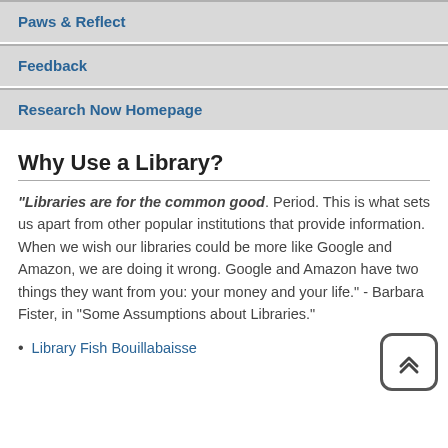Paws & Reflect
Feedback
Research Now Homepage
Why Use a Library?
"Libraries are for the common good. Period. This is what sets us apart from other popular institutions that provide information. When we wish our libraries could be more like Google and Amazon, we are doing it wrong. Google and Amazon have two things they want from you: your money and your life." - Barbara Fister, in "Some Assumptions about Libraries."
Library Fish Bouillabaisse